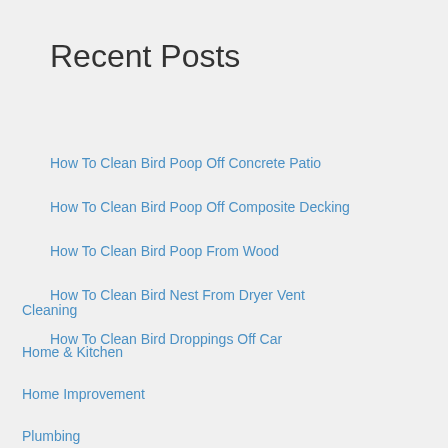Recent Posts
How To Clean Bird Poop Off Concrete Patio
How To Clean Bird Poop Off Composite Decking
How To Clean Bird Poop From Wood
How To Clean Bird Nest From Dryer Vent
How To Clean Bird Droppings Off Car
Cleaning
Home & Kitchen
Home Improvement
Plumbing
Soccer
Sports